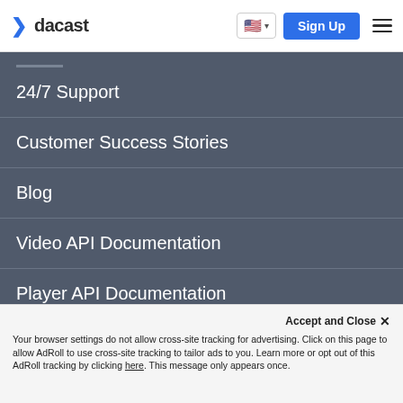dacast — Sign Up
24/7 Support
Customer Success Stories
Blog
Video API Documentation
Player API Documentation
CONTACT
Accept and Close ×
Your browser settings do not allow cross-site tracking for advertising. Click on this page to allow AdRoll to use cross-site tracking to tailor ads to you. Learn more or opt out of this AdRoll tracking by clicking here. This message only appears once.